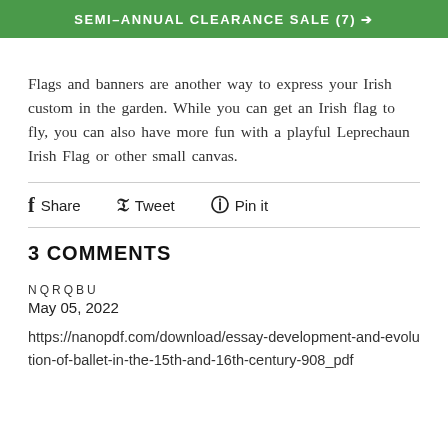SEMI-ANNUAL CLEARANCE SALE (7)
Flags and banners are another way to express your Irish custom in the garden. While you can get an Irish flag to fly, you can also have more fun with a playful Leprechaun Irish Flag or other small canvas.
Share  Tweet  Pin it
3 COMMENTS
NQRQBU
May 05, 2022
https://nanopdf.com/download/essay-development-and-evolution-of-ballet-in-the-15th-and-16th-century-908_pdf